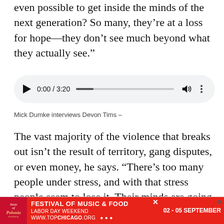even possible to get inside the minds of the next generation? So many, they’re at a loss for hope—they don’t see much beyond what they actually see.”
[Figure (other): Audio player widget showing 0:00 / 3:20 with play button, progress bar, volume icon, and more options icon]
Mick Dumke interviews Devon Tims –
The vast majority of the violence that breaks out isn’t the result of territory, gang disputes, or even money, he says. “There’s too many people under stress, and with that stress people seem to lose it. Their minds are going in so many different directions they just lose it. And I was at that point before, where I felt I had nothing to
[Figure (infographic): Advertisement banner for Taste of Polonia Festival of Music & Food, 02-05 September, Labor Day Weekend, www.topchicago.org]